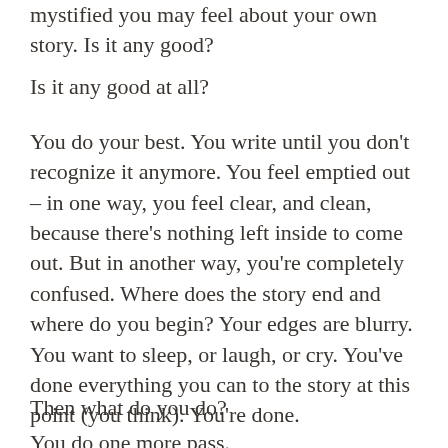mystified you may feel about your own story. Is it any good?
Is it any good at all?
You do your best. You write until you don't recognize it anymore. You feel emptied out – in one way, you feel clear, and clean, because there's nothing left inside to come out. But in another way, you're completely confused. Where does the story end and where do you begin? Your edges are blurry. You want to sleep, or laugh, or cry. You've done everything you can to the story at this point (you think). You're done.
Then what do you do?
You do one more pass.